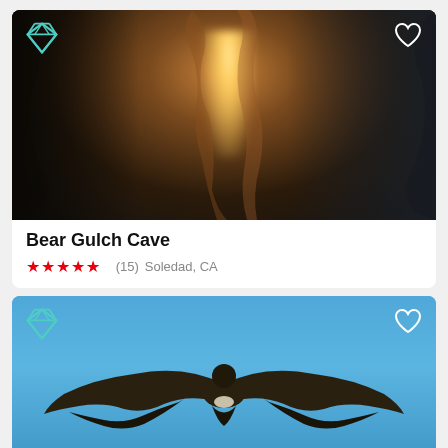[Figure (photo): Cave interior photo showing narrow rock canyon with bright light streaming through the crack from above. Dark rocky walls surround a bright orange-lit passage. Diamond gem icon in top-left corner, heart icon in top-right corner.]
Bear Gulch Cave
★★★★½ (15)  Soledad, CA
[Figure (photo): Bird (condor or eagle) photographed from below with wings fully spread against a bright blue sky. Diamond gem icon in top-left corner, heart icon in top-right corner.]